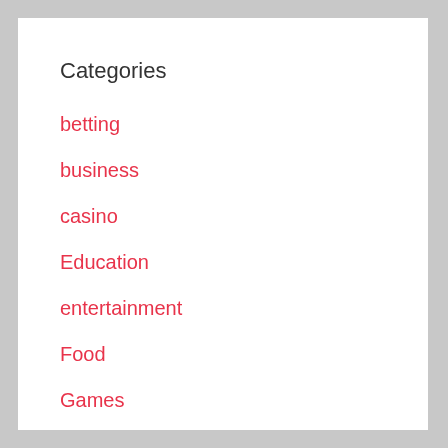Categories
betting
business
casino
Education
entertainment
Food
Games
Health
Home
Life Style
News